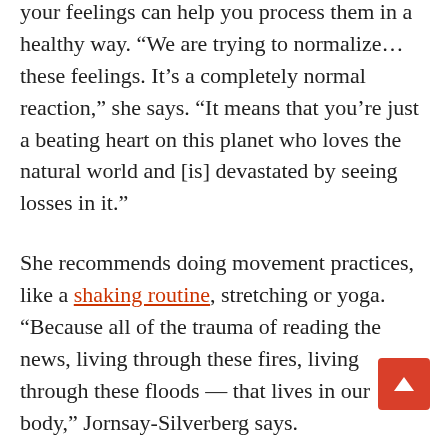your feelings can help you process them in a healthy way. “We are trying to normalize…these feelings. It’s a completely normal reaction,” she says. “It means that you’re just a beating heart on this planet who loves the natural world and [is] devastated by seeing losses in it.”
She recommends doing movement practices, like a shaking routine, stretching or yoga. “Because all of the trauma of reading the news, living through these fires, living through these floods — that lives in our body,” Jornsay-Silverberg says.
Thomas Joseph Doherty, a psychologist specializing in the environment’s effect on mental health, says it’s important to unplug from the incessant “bad news” that appears on our feeds. “And unplugging does not equate to being unaware. It does not equate to being complacent and doesn’t mean you’re giving up,” he says.